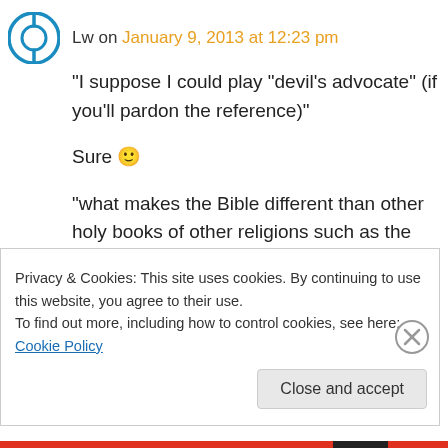Lw on January 9, 2013 at 12:23 pm
“I suppose I could play “devil’s advocate” (if you’ll pardon the reference)”
Sure 🙂
“what makes the Bible different than other holy books of other religions such as the Koran, for example? That would be the most obvious reason to perform such an examination, especially if our faith hinges upon a certain
Privacy & Cookies: This site uses cookies. By continuing to use this website, you agree to their use.
To find out more, including how to control cookies, see here: Cookie Policy